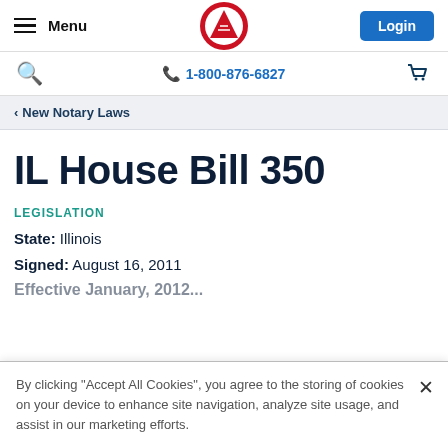Menu | [Logo] | Login
🔍  📞 1-800-876-6827  🛒
< New Notary Laws
IL House Bill 350
LEGISLATION
State: Illinois
Signed: August 16, 2011
By clicking "Accept All Cookies", you agree to the storing of cookies on your device to enhance site navigation, analyze site usage, and assist in our marketing efforts.